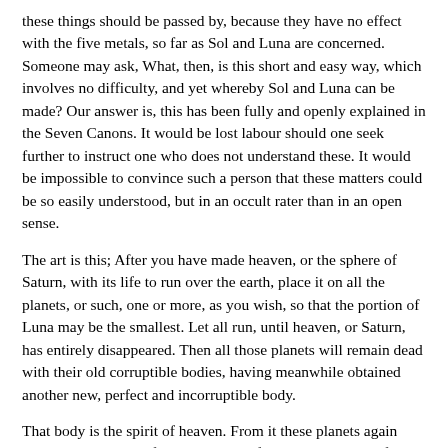these things should be passed by, because they have no effect with the five metals, so far as Sol and Luna are concerned. Someone may ask, What, then, is this short and easy way, which involves no difficulty, and yet whereby Sol and Luna can be made? Our answer is, this has been fully and openly explained in the Seven Canons. It would be lost labour should one seek further to instruct one who does not understand these. It would be impossible to convince such a person that these matters could be so easily understood, but in an occult rater than in an open sense.
The art is this; After you have made heaven, or the sphere of Saturn, with its life to run over the earth, place it on all the planets, or such, one or more, as you wish, so that the portion of Luna may be the smallest. Let all run, until heaven, or Saturn, has entirely disappeared. Then all those planets will remain dead with their old corruptible bodies, having meanwhile obtained another new, perfect and incorruptible body.
That body is the spirit of heaven. From it these planets again receive a body and life, and live as before. Take this body from the life and the earth. Keep it. It is Sol and Luna. Here you have the Art altogether, clear and entire. If you do not yet understand it, or are not practised therein, it is well. It is better that it should be kept concealed, and not made public.